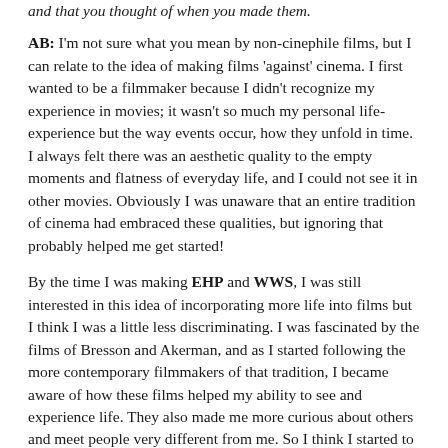and that you thought of when you made them.
AB: I'm not sure what you mean by non-cinephile films, but I can relate to the idea of making films 'against' cinema. I first wanted to be a filmmaker because I didn't recognize my experience in movies; it wasn't so much my personal life-experience but the way events occur, how they unfold in time. I always felt there was an aesthetic quality to the empty moments and flatness of everyday life, and I could not see it in other movies. Obviously I was unaware that an entire tradition of cinema had embraced these qualities, but ignoring that probably helped me get started!
By the time I was making EHP and WWS, I was still interested in this idea of incorporating more life into films but I think I was a little less discriminating. I was fascinated by the films of Bresson and Akerman, and as I started following the more contemporary filmmakers of that tradition, I became aware of how these films helped my ability to see and experience life. They also made me more curious about others and meet people very different from me. So I think I started to notice that it really works both ways and that there shouldn't be such a clear distinction between the two.